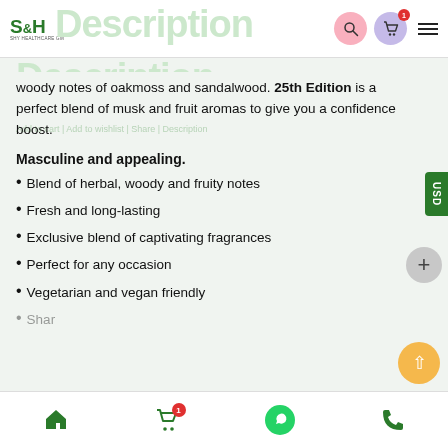S&H Healthcare
Description
woody notes of oakmoss and sandalwood. 25th Edition is a perfect blend of musk and fruit aromas to give you a confidence boost.
Masculine and appealing.
Blend of herbal, woody and fruity notes
Fresh and long-lasting
Exclusive blend of captivating fragrances
Perfect for any occasion
Vegetarian and vegan friendly
Home | Cart | WhatsApp | Phone